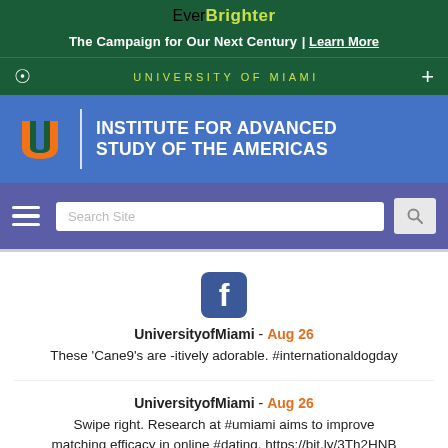EverBrighter
The Campaign for Our Next Century | Learn More
UNIVERSITY OF MIAMI
[Figure (logo): University of Miami logo with orange and green U symbol, followed by Institute for Advanced Study of the Americas text on blue background]
UniversityofMiami - Aug 26
These 'Cane9's are -itively adorable. #internationaldogday
UniversityofMiami - Aug 26
Swipe right. Research at #umiami aims to improve matching efficacy in online #dating. https://bit.ly/3Th2HNB